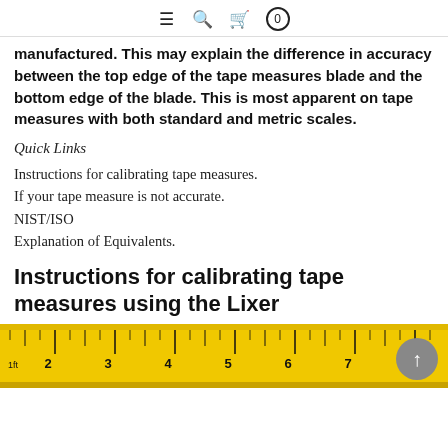≡ 🔍 🛒 0
manufactured. This may explain the difference in accuracy between the top edge of the tape measures blade and the bottom edge of the blade. This is most apparent on tape measures with both standard and metric scales.
Quick Links
Instructions for calibrating tape measures.
If your tape measure is not accurate.
NIST/ISO
Explanation of Equivalents.
Instructions for calibrating tape measures using the Lixer
[Figure (photo): Close-up photo of a yellow tape measure blade showing inch markings from approximately 1 to 7, with ruled gradations visible.]